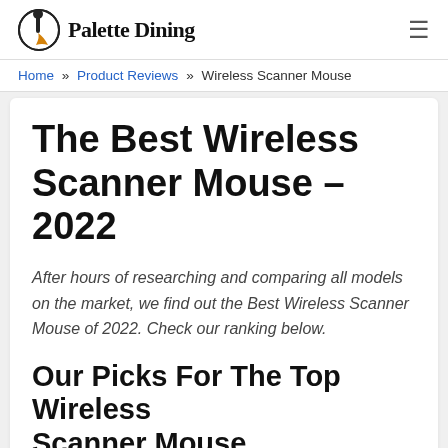Palette Dining
Home » Product Reviews » Wireless Scanner Mouse
The Best Wireless Scanner Mouse – 2022
After hours of researching and comparing all models on the market, we find out the Best Wireless Scanner Mouse of 2022. Check our ranking below.
Our Picks For The Top Wireless Scanner Mouse